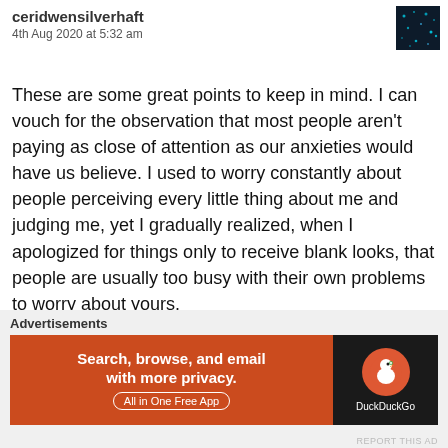ceridwensilverhaft
4th Aug 2020 at 5:32 am
These are some great points to keep in mind. I can vouch for the observation that most people aren't paying as close of attention as our anxieties would have us believe. I used to worry constantly about people perceiving every little thing about me and judging me, yet I gradually realized, when I apologized for things only to receive blank looks, that people are usually too busy with their own problems to worry about yours.
★ Liked by 2 people
Reply
Advertisements
[Figure (screenshot): DuckDuckGo advertisement banner: 'Search, browse, and email with more privacy. All in One Free App' with DuckDuckGo logo on dark background]